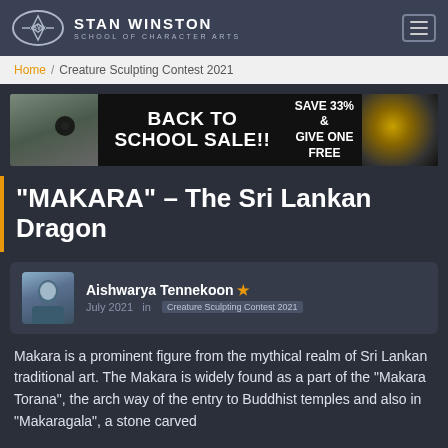STAN WINSTON SCHOOL OF CHARACTER ARTS
Home / Creature Sculpting Contest 2021
[Figure (infographic): Back to School Sale advertisement banner. Shows creature sculpture images on left and right with text: BACK TO SCHOOL SALE!! SAVE 33% & GIVE ONE FREE]
“MAKARA” – The Sri Lankan Dragon
Aishwarya Tennekoon ★ July 2021 in Creature Sculpting Contest 2021
Makara is a prominent figure from the mythical realm of Sri Lankan traditional art. The Makara is widely found as a part of the “Makara Torana”, the arch way of the entry to Buddhist temples and also in “Makaragala”, a stone carved